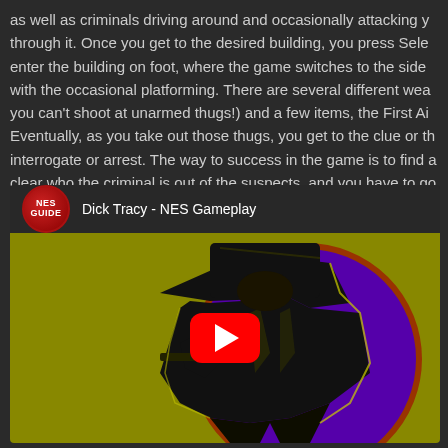as well as criminals driving around and occasionally attacking y through it. Once you get to the desired building, you press Sele enter the building on foot, where the game switches to the side with the occasional platforming. There are several different wea you can't shoot at unarmed thugs!) and a few items, the First Ai Eventually, as you take out those thugs, you get to the clue or th interrogate or arrest. The way to success in the game is to find a clear who the criminal is out of the suspects, and you have to go
[Figure (screenshot): YouTube video embed showing 'Dick Tracy - NES Gameplay' with NES Guide channel logo (red circle with NES GUIDE text), and video thumbnail showing Dick Tracy character silhouette (black figure with hat) against a yellow-green background with purple circle and brown border, with a red YouTube play button in the center.]